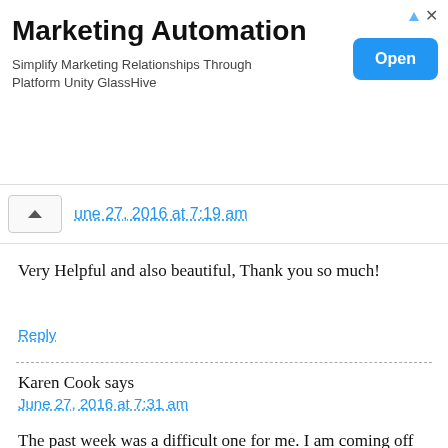[Figure (screenshot): Marketing Automation advertisement banner with 'Open' button]
une 27, 2016 at 7:19 am
Very Helpful and also beautiful, Thank you so much!
Reply
Karen Cook says
June 27, 2016 at 7:31 am
The past week was a difficult one for me. I am coming off medication, the withdrawal